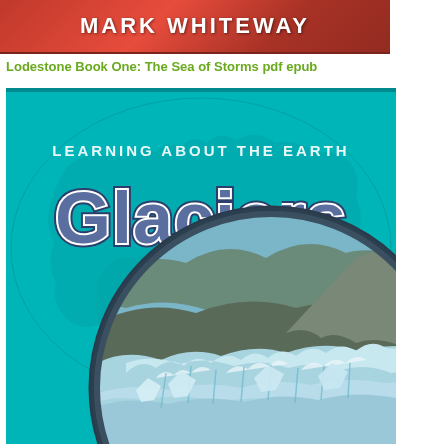[Figure (illustration): Book cover banner with author name MARK WHITEWAY on red/orange gradient background]
Lodestone Book One: The Sea of Storms pdf epub
[Figure (illustration): Book cover: 'Learning About the Earth - Glaciers' with teal/turquoise background showing world map silhouette, large white-outlined 'Glaciers' text, and circular inset photo of glacier ice formations with blue-gray rocky landscape]